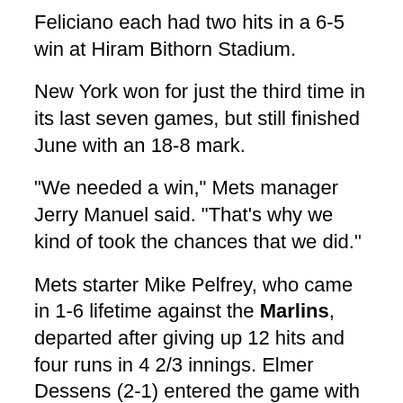Feliciano each had two hits in a 6-5 win at Hiram Bithorn Stadium.
New York won for just the third time in its last seven games, but still finished June with an 18-8 mark.
"We needed a win," Mets manager Jerry Manuel said. "That's why we kind of took the chances that we did."
Mets starter Mike Pelfrey, who came in 1-6 lifetime against the Marlins, departed after giving up 12 hits and four runs in 4 2/3 innings. Elmer Dessens (2-1) entered the game with runners at the corners, but retired pinch-hitter Mike Lamb on a ground ball to end the fifth and earned the win.
Washington, meanwhile, enters on a sour note after dropping the rubber match of its three-game set with